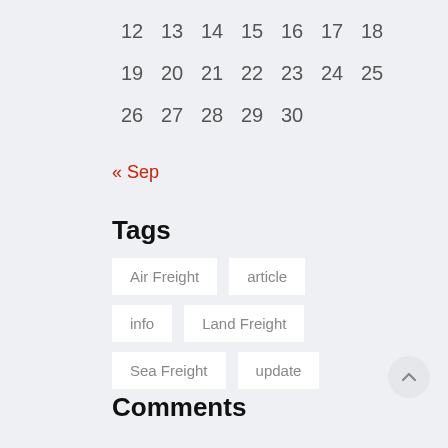| 12 | 13 | 14 | 15 | 16 | 17 | 18 |
| 19 | 20 | 21 | 22 | 23 | 24 | 25 |
| 26 | 27 | 28 | 29 | 30 |  |  |
« Sep
Tags
Air Freight
article
info
Land Freight
Sea Freight
update
Comments